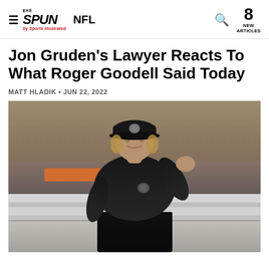THE SPUN by Sports Illustrated | NFL | 8 NEW ARTICLES
Jon Gruden's Lawyer Reacts To What Roger Goodell Said Today
MATT HLADIK • JUN 22, 2022
[Figure (photo): Jon Gruden wearing black Raiders cap and black polo shirt, pumping his fist at a sporting event with blurred crowd in background]